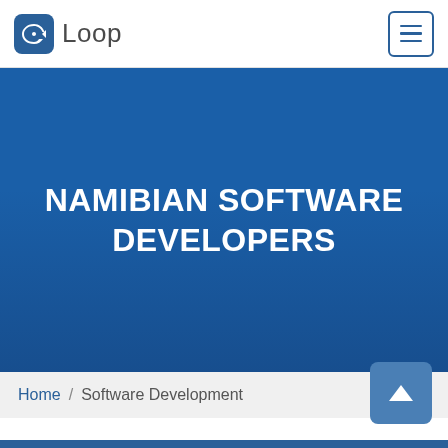[Figure (logo): Loop logo with cloud icon and wordmark]
NAMIBIAN SOFTWARE DEVELOPERS
Home / Software Development